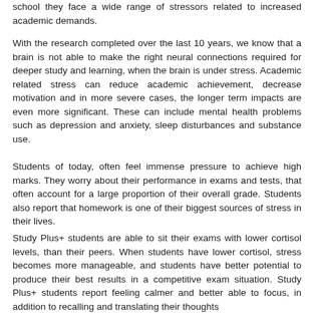school they face a wide range of stressors related to increased academic demands.
With the research completed over the last 10 years, we know that a brain is not able to make the right neural connections required for deeper study and learning, when the brain is under stress. Academic related stress can reduce academic achievement, decrease motivation and in more severe cases, the longer term impacts are even more significant. These can include mental health problems such as depression and anxiety, sleep disturbances and substance use.
Students of today, often feel immense pressure to achieve high marks. They worry about their performance in exams and tests, that often account for a large proportion of their overall grade. Students also report that homework is one of their biggest sources of stress in their lives.
Study Plus+ students are able to sit their exams with lower cortisol levels, than their peers. When students have lower cortisol, stress becomes more manageable, and students have better potential to produce their best results in a competitive exam situation. Study Plus+ students report feeling calmer and better able to focus, in addition to recalling and translating their thoughts